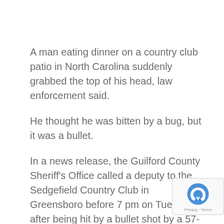A man eating dinner on a country club patio in North Carolina suddenly grabbed the top of his head, law enforcement said.
He thought he was bitten by a bug, but it was a bullet.
In a news release, the Guilford County Sheriff's Office called a deputy to the Sedgefield Country Club in Greensboro before 7 pm on Tuesday after being hit by a bullet shot by a 57-year-old boy. Person Lori Pogue told McClutch News that the bullet “grabbed the outermost layer of the scalp and caused bleeding.